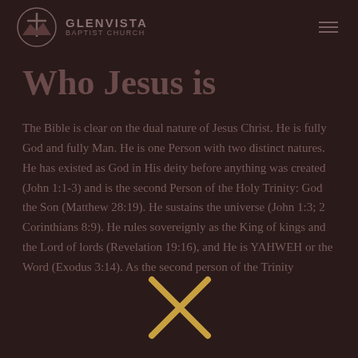GLENVISTA BAPTIST CHURCH
Who Jesus is
The Bible is clear on the dual nature of Jesus Christ. He is fully God and fully Man. He is one Person with two distinct natures. He has existed as God in His deity before anything was created (John 1:1-3) and is the second Person of the Holy Trinity: God the Son (Matthew 28:19). He sustains the universe (John 1:3; 2 Corinthians 8:9). He rules sovereignly as the King of kings and the Lord of lords (Revelation 19:16), and He is YAHWEH or the Word (Exodus 3:14). As the second person of the Trinity